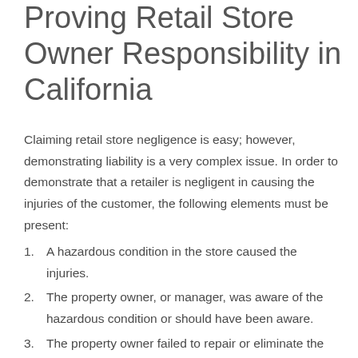Proving Retail Store Owner Responsibility in California
Claiming retail store negligence is easy; however, demonstrating liability is a very complex issue. In order to demonstrate that a retailer is negligent in causing the injuries of the customer, the following elements must be present:
A hazardous condition in the store caused the injuries.
The property owner, or manager, was aware of the hazardous condition or should have been aware.
The property owner failed to repair or eliminate the hazardous condition.